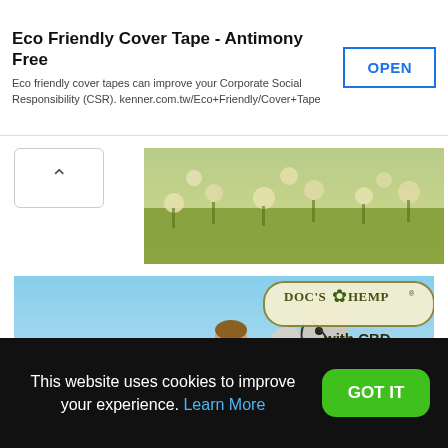Eco Friendly Cover Tape - Antimony Free
Eco friendly cover tapes can improve your Corporate Social Responsibility (CSR). kenner.com.tw/Eco+Friendly/Cover+Tape
[Figure (photo): Flower field banner image at top]
[Figure (photo): Doc's Hemp with CBD advertisement showing a woman on a white horse in a flower field]
This website uses cookies to improve your experience. Learn More